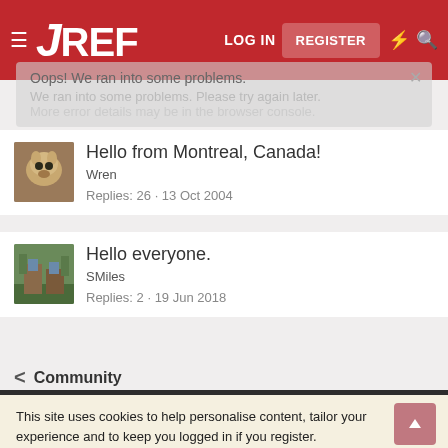JREF — LOG IN | REGISTER
Oops! We ran into some problems. We ran into some problems. Please try again later. More error details may be in the browser console.
Hello from Montreal, Canada!
Wren
Replies: 26 · 13 Oct 2004
Hello everyone.
SMiles
Replies: 2 · 19 Jun 2018
< Community
This site uses cookies to help personalise content, tailor your experience and to keep you logged in if you register.
By continuing to use this site, you are consenting to our use of cookies.
✓ Accept   Learn more...